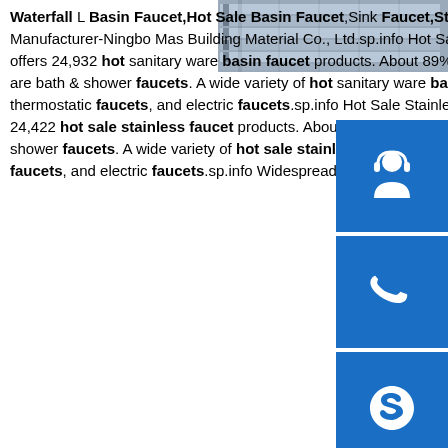[Figure (photo): Photo of stainless steel channel/beam products stacked together]
Waterfall L Basin Faucet,Hot Sale Basin Faucet,Sink Faucet,Stainless Steel 304 Waterfall Faucet from Supplier or Manufacturer-Ningbo Mas Building Material Co., Ltd.sp.info Hot Sanitary Ware Faucet, Hot Sanitary Ware Basin ...Alibaba.com offers 24,932 hot sanitary ware basin faucet products. About 89% of these are basin faucets, 5% are kitchen faucets, and 1% are bath & shower faucets. A wide variety of hot sanitary ware basin faucet options are available to you, such as metered faucets, thermostatic faucets, and electric faucets.sp.info Hot Sale Stainless Faucet Wholesale, Hot Sale Suppliers ...Alibaba.com offers 24,422 hot sale stainless faucet products. About 22% of these are basin faucets, 22% are kitchen faucets, and 5% are bath & shower faucets. A wide variety of hot sale stainless faucet options are available to you, such as thermostatic faucets, metered faucets, and electric faucets.sp.info Widespread Waterfall Bathroom Sink
[Figure (infographic): Blue sidebar button with customer service headset icon]
[Figure (infographic): Blue sidebar button with phone/call icon]
[Figure (infographic): Blue sidebar button with Skype icon]